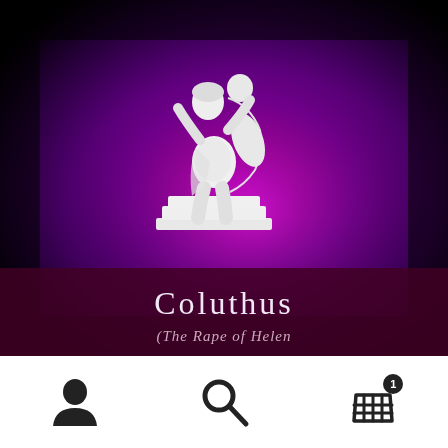[Figure (illustration): Book cover showing a white classical marble statue of two figures (one carrying another) against a vivid purple/magenta textured background. The statue sits on a stepped pedestal. Below the statue is a dark maroon/purple title band.]
Coluthus
(The Rape of Helen)
[Figure (other): App navigation bar with three icons: a person/user icon on the left, a magnifying glass/search icon in the center, and a shopping basket icon with a badge showing '1' on the right.]